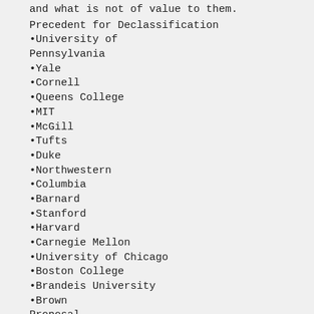and what is not of value to them.
Precedent for Declassification
•University of Pennsylvania
•Yale
•Cornell
•Queens College
•MIT
•McGill
•Tufts
•Duke
•Northwestern
•Columbia
•Barnard
•Stanford
•Harvard
•Carnegie Mellon
•University of Chicago
•Boston College
•Brandeis University
•Brown
Proposal